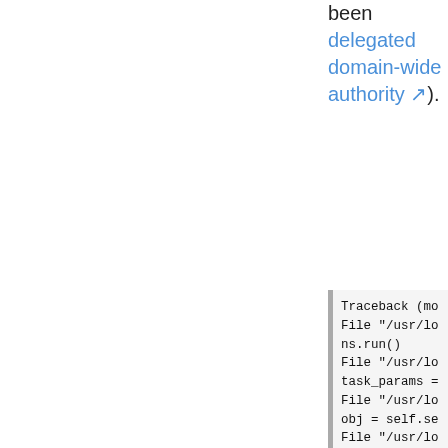been delegated domain-wide authority).
Traceback (mo
File "/usr/lo
ns.run()
File "/usr/lo
task_params =
File "/usr/lo
obj = self.se
File "/usr/lo
response = se
File "/usr/lo
return wrappe
File "/usr/lo
raise HttpErr
googleapiclie
https://alert